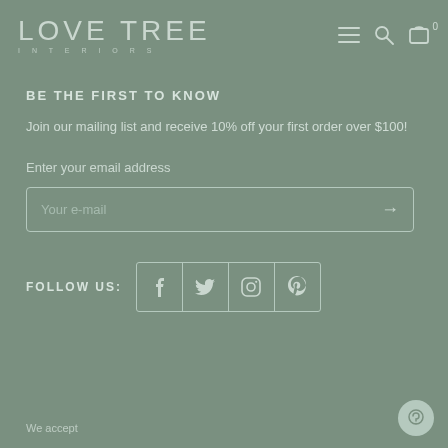LOVE TREE INTERIORS — navigation with menu, search, cart icons
BE THE FIRST TO KNOW
Join our mailing list and receive 10% off your first order over $100!
Enter your email address
Your e-mail
FOLLOW US:
We accept